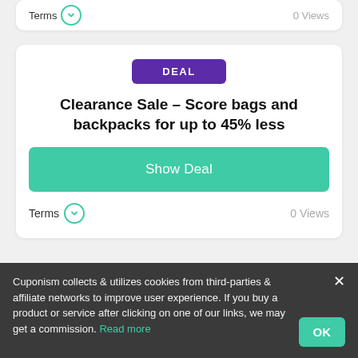Terms  0 Views
[Figure (screenshot): Deal card with DEAL badge, title 'Clearance Sale - Score bags and backpacks for up to 45% less', Show Deal button, Terms and 0 Views footer]
DEAL
Clearance Sale – Score bags and backpacks for up to 45% less
Show Deal
Terms  0 Views
DEAL
Cuponism collects & utilizes cookies from third-parties & affiliate networks to improve user experience. If you buy a product or service after clicking on one of our links, we may get a commission. Read more